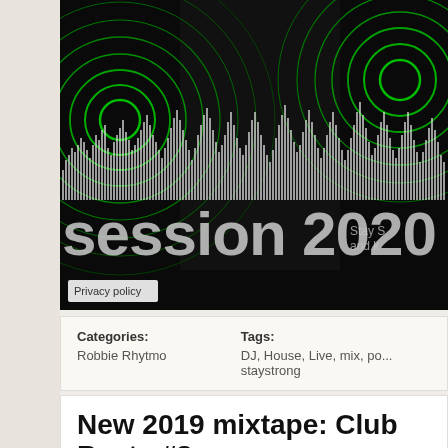[Figure (screenshot): Music player / DJ session embed showing a dark background with green glowing concentric circles on left and right, a waveform visualization in white/grey bars, large text reading 'session 2020' with 'Stay s... and k...' on the right, and a Privacy policy button at lower left.]
Categories: Robbie Rhytmo | Tags: DJ, House, Live, mix, po... staystrong
New 2019 mixtape: Club Beats #8
Posted March 14, 2019 By robbierhytmo and has no comments yet.
After 8 months of silence after the last Club Beats mixtape, here's a brand new... Enjoy these 74 minutes of pure pleasure. Enjoy Club Beats 8!